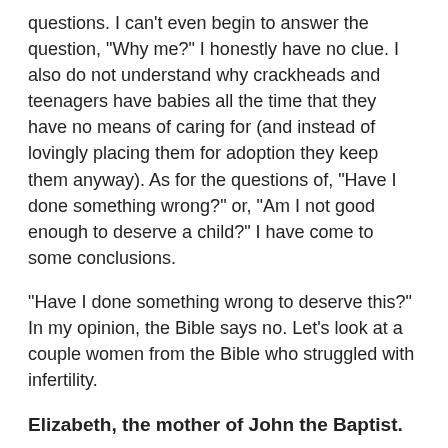questions. I can't even begin to answer the question, "Why me?" I honestly have no clue. I also do not understand why crackheads and teenagers have babies all the time that they have no means of caring for (and instead of lovingly placing them for adoption they keep them anyway). As for the questions of, "Have I done something wrong?" or, "Am I not good enough to deserve a child?" I have come to some conclusions.
"Have I done something wrong to deserve this?" In my opinion, the Bible says no. Let's look at a couple women from the Bible who struggled with infertility.
Elizabeth, the mother of John the Baptist.
Elizabeth was righteous in the sight God and was infertile. Her infertility had nothing to do with her lack of goodness. I venture to guess that maybe her infertility was for a bigger purpose. If Elizabeth and Zechariah had been successful in conceiving earlier in life maybe they would never have had John the Baptist. John was meant to be born at a very specific time and to a very specific set of parents. John